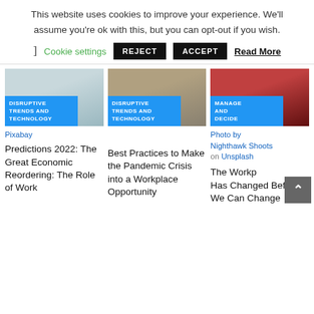This website uses cookies to improve your experience. We'll assume you're ok with this, but you can opt-out if you wish.
Cookie settings  REJECT  ACCEPT  Read More
[Figure (screenshot): Three article cards with images and blue category badges. Card 1: 'DISRUPTIVE TRENDS AND TECHNOLOGY' badge, photo credit Pixabay. Card 2: 'DISRUPTIVE TRENDS AND TECHNOLOGY' badge. Card 3: 'MANAGE AND DECIDE' badge, photo by Nighthawk Shoots on Unsplash.]
Pixabay
Predictions 2022: The Great Economic Reordering: The Role of Work
Best Practices to Make the Pandemic Crisis into a Workplace Opportunity
Photo by Nighthawk Shoots on Unsplash
The Workp Has Changed Before. We Can Change